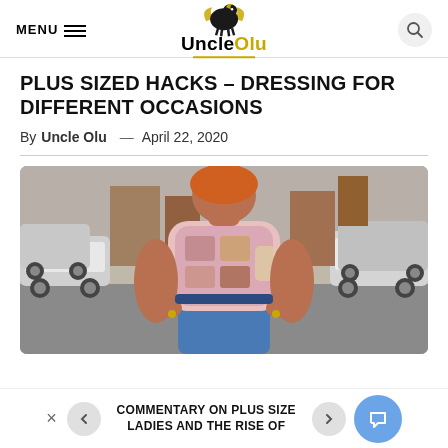MENU | UncleOlu | [search]
PLUS SIZED HACKS – DRESSING FOR DIFFERENT OCCASIONS
By Uncle Olu — April 22, 2020
[Figure (photo): Plus-size woman in a patterned pink and gold top with blue jeans, standing on a street with cars parked on either side.]
COMMENTARY ON PLUS SIZE LADIES AND THE RISE OF